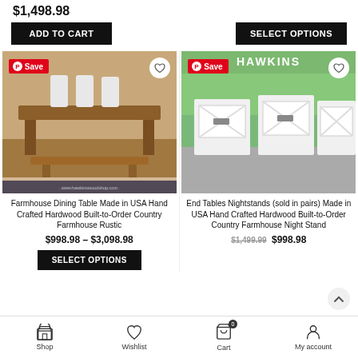$1,498.98
ADD TO CART
SELECT OPTIONS
[Figure (photo): Farmhouse dining table made of hardwood with bench, white chairs in background, rustic wood finish, watermark www.hawkinswoodshop.com]
[Figure (photo): White end tables/nightstands with X-frame design and single drawer, shown in pairs outdoors on gravel with trees in background, Hawkins Shop logo visible]
Farmhouse Dining Table Made in USA Hand Crafted Hardwood Built-to-Order Country Farmhouse Rustic
$998.98 – $3,098.98
SELECT OPTIONS
End Tables Nightstands (sold in pairs) Made in USA Hand Crafted Hardwood Built-to-Order Country Farmhouse Night Stand
$1,499.99 $998.98
Shop  Wishlist  Cart 0  My account